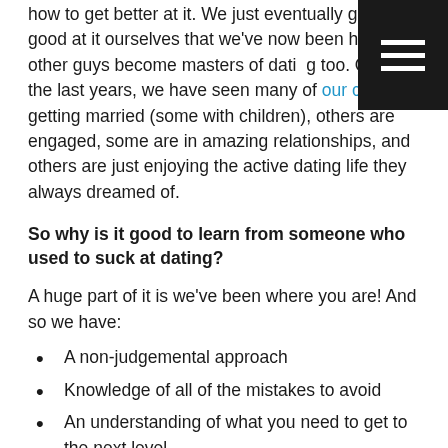how to get better at it. We just eventually got so good at it ourselves that we've now been helping other guys become masters of dating too. Over the last years, we have seen many of our clients getting married (some with children), others are engaged, some are in amazing relationships, and others are just enjoying the active dating life they always dreamed of.
So why is it good to learn from someone who used to suck at dating?
A huge part of it is we've been where you are! And so we have:
A non-judgemental approach
Knowledge of all of the mistakes to avoid
An understanding of what you need to get to the next level
A system of how to overcome all of the